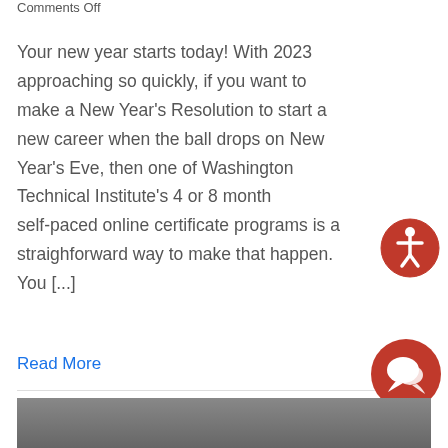Comments Off
Your new year starts today! With 2023 approaching so quickly, if you want to make a New Year's Resolution to start a new career when the ball drops on New Year's Eve, then one of Washington Technical Institute's 4 or 8 month self-paced online certificate programs is a straighforward way to make that happen. You [...]
Read More
[Figure (photo): Bottom partial image strip, appears to be a person or scene, cropped at bottom of page]